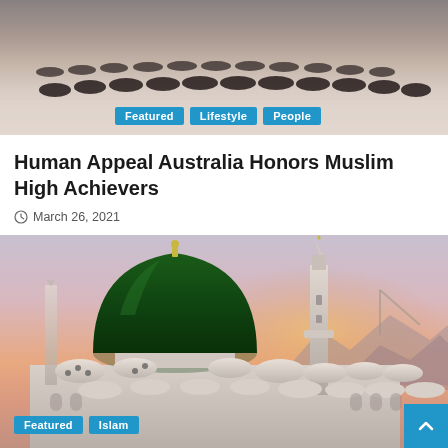[Figure (photo): Top photo showing a crowd of people praying in a large outdoor courtyard, viewed from above]
Featured
Lifestyle
People
Human Appeal Australia Honors Muslim High Achievers
March 26, 2021
[Figure (photo): Photo of the Green Dome of the Prophet's Mosque (Al-Masjid an-Nabawi) in Medina at dusk/sunset with a minaret in the background]
Featured
Islam